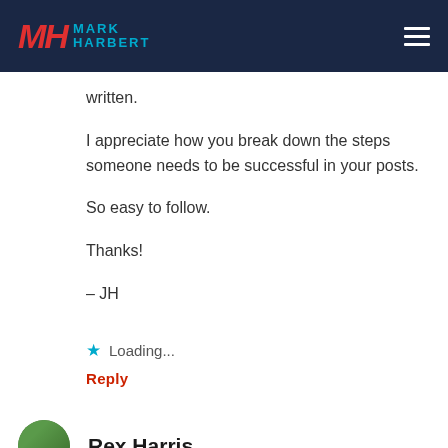Mark Harbert
written.

I appreciate how you break down the steps someone needs to be successful in your posts.

So easy to follow.

Thanks!

– JH
Loading...
Reply
Rex Harris